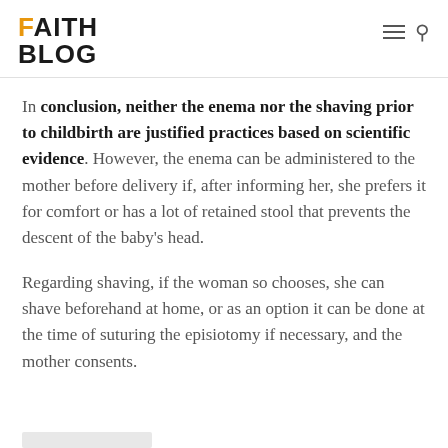FAITH BLOG
In conclusion, neither the enema nor the shaving prior to childbirth are justified practices based on scientific evidence. However, the enema can be administered to the mother before delivery if, after informing her, she prefers it for comfort or has a lot of retained stool that prevents the descent of the baby's head.
Regarding shaving, if the woman so chooses, she can shave beforehand at home, or as an option it can be done at the time of suturing the episiotomy if necessary, and the mother consents.